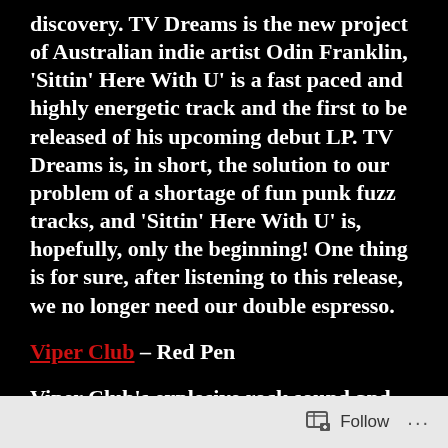discovery. TV Dreams is the new project of Australian indie artist Odin Franklin, 'Sittin' Here With U' is a fast paced and highly energetic track and the first to be released of his upcoming debut LP. TV Dreams is, in short, the solution to our problem of a shortage of fun punk fuzz tracks, and 'Sittin' Here With U' is, hopefully, only the beginning! One thing is for sure, after listening to this release, we no longer need our double espresso.
Viper Club – Red Pen
Viper Club's explosive rock sound and refreshing guitar-driven soundscape mix brilliantly in new single 'Red Pen'. Their distorted and chaotic vibe
Follow ...